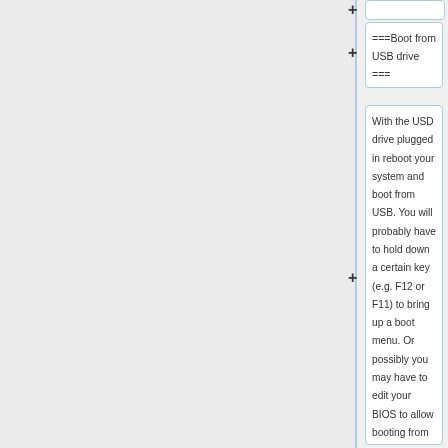===Boot from USB drive ===
With the USD drive plugged in reboot your system and boot from USB. You will probably have to hold down a certain key (e.g. F12 or F11) to bring up a boot menu. Or possibly you may have to edit your BIOS to allow booting from USB. Select USB Storage Device as the boot device and boot.